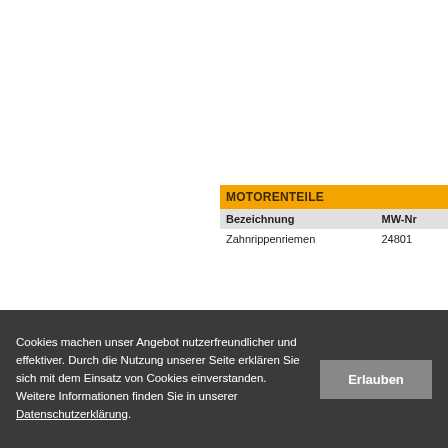| MOTORENTEILE |  |  |
| --- | --- | --- |
| Bezeichnung | MW-Nr |  |
| Zahnrippenriemen | 24801 |  |
Cookies machen unser Angebot nutzerfreundlicher und effektiver. Durch die Nutzung unserer Seite erklären Sie sich mit dem Einsatz von Cookies einverstanden. Weitere Informationen finden Sie in unserer Datenschutzerklärung.